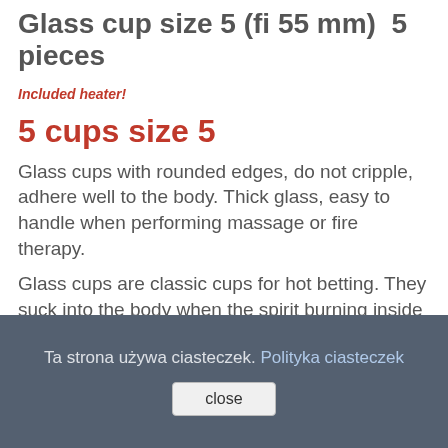Glass cup size 5 (fi 55 mm)  5 pieces
Included heater!
5 cups size 5
Glass cups with rounded edges, do not cripple, adhere well to the body. Thick glass, easy to handle when performing massage or fire therapy.
Glass cups are classic cups for hot betting. They suck into the body when the spirit burning inside consumes oxygen. Then the cup permanently attaches to the skin. Their action is the strongest.
Ta strona używa ciasteczek. Polityka ciasteczek
close